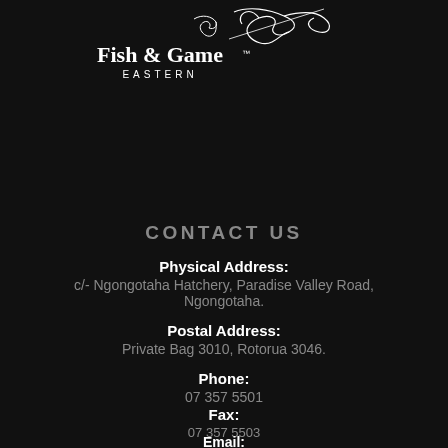[Figure (logo): Fish & Game Eastern logo with fish/bird illustration in white on dark background]
CONTACT US
Physical Address:
c/- Ngongotaha Hatchery, Paradise Valley Road, Ngongotaha.
Postal Address:
Private Bag 3010, Rotorua 3046.
Phone:
07 357 5501
Fax:
07 357 5503
Email:
eastern@fishandgame.org.nz